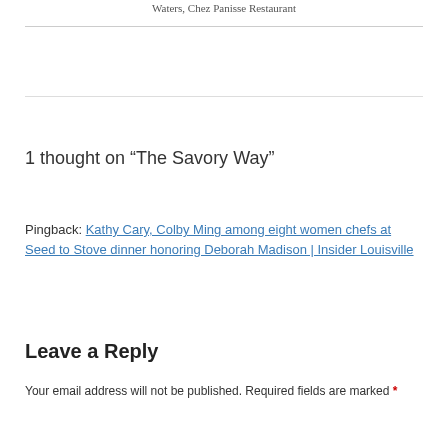Waters, Chez Panisse Restaurant
1 thought on “The Savory Way”
Pingback: Kathy Cary, Colby Ming among eight women chefs at Seed to Stove dinner honoring Deborah Madison | Insider Louisville
Leave a Reply
Your email address will not be published. Required fields are marked *